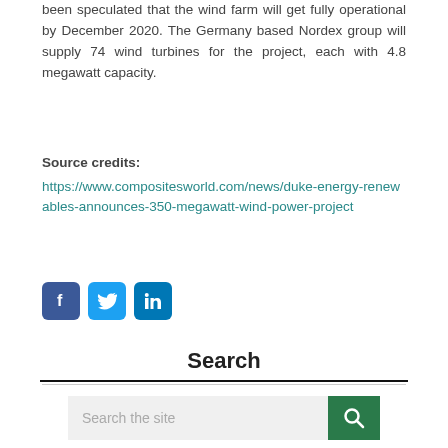been speculated that the wind farm will get fully operational by December 2020. The Germany based Nordex group will supply 74 wind turbines for the project, each with 4.8 megawatt capacity.
Source credits: https://www.compositesworld.com/news/duke-energy-renewables-announces-350-megawatt-wind-power-project
[Figure (other): Social media share icons: Facebook, Twitter, LinkedIn]
Search
[Figure (other): Search bar with text 'Search the site' and a green search button with magnifying glass icon]